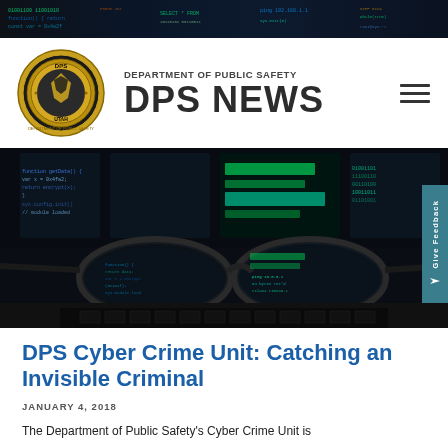[Figure (screenshot): Dark background top banner with code/data visualization]
DEPARTMENT OF PUBLIC SAFETY
DPS NEWS
[Figure (logo): Utah Department of Public Safety circular gold badge logo with DPS text]
[Figure (photo): Hero image: glasses resting on laptop keyboard reflecting computer code screens, dark cybersecurity themed photo]
DPS Cyber Crime Unit: Catching an Invisible Criminal
JANUARY 4, 2018
The Department of Public Safety's Cyber Crime Unit is